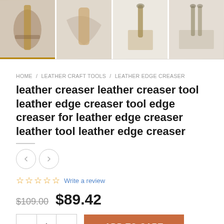[Figure (photo): Four thumbnail product images of leather edge creaser tools arranged in a row]
HOME / LEATHER CRAFT TOOLS / LEATHER EDGE CREASER
leather creaser leather creaser tool leather edge creaser tool edge creaser for leather edge creaser leather tool leather edge creaser
[Figure (other): Left and right navigation arrow buttons]
☆☆☆☆☆ Write a review
$109.00 $89.42
- 1 + ADD TO CART